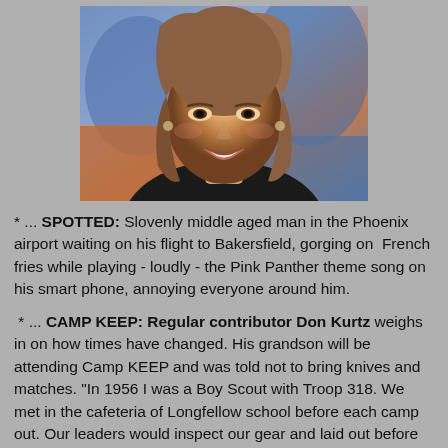[Figure (photo): Portrait photo of a smiling woman with long blonde/brown hair, wearing a dark top, against a blurred colorful studio background]
* ... SPOTTED: Slovenly middle aged man in the Phoenix airport waiting on his flight to Bakersfield, gorging on French fries while playing - loudly - the Pink Panther theme song on his smart phone, annoying everyone around him.
* ... CAMP KEEP: Regular contributor Don Kurtz weighs in on how times have changed. His grandson will be attending Camp KEEP and was told not to bring knives and matches. "In 1956 I was a Boy Scout with Troop 318. We met in the cafeteria of Longfellow school before each camp out. Our leaders would inspect our gear and laid out before you were knives - a hunting knife and a folding knife - an axe